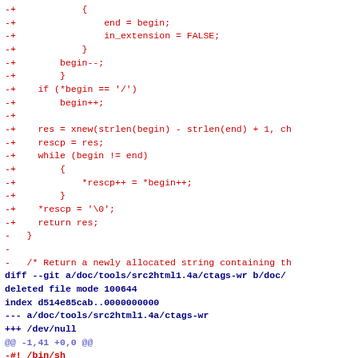Code diff showing deleted C code and shell script header
-+            {
-+                end = begin;
-+                in_extension = FALSE;
-+            }
-+        begin--;
-+        }
-+    if (*begin == '/')
-+        begin++;
-+
-+    res = xnew(strlen(begin) - strlen(end) + 1, ch
-+    rescp = res;
-+    while (begin != end)
-+        {
-+            *rescp++ = *begin++;
-+        }
-+    *rescp = '\0';
-+    return res;
-   }
-
-   /* Return a newly allocated string containing th
diff --git a/doc/tools/src2html1.4a/ctags-wr b/doc/
deleted file mode 100644
index d514e85cab..0000000000
--- a/doc/tools/src2html1.4a/ctags-wr
+++ /dev/null
@@ -1,41 +0,0 @@
-#! /bin/sh
-#
-#  Ctags wrapper
-#